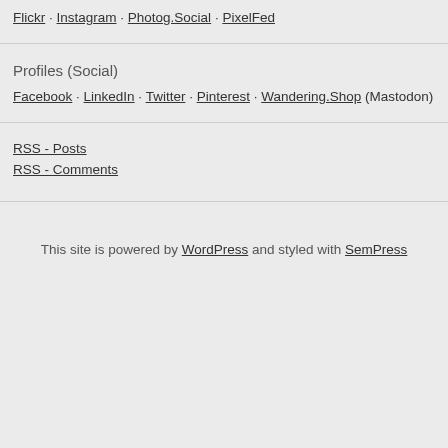Flickr · Instagram · Photog.Social · PixelFed
Profiles (Social)
Facebook · LinkedIn · Twitter · Pinterest · Wandering.Shop (Mastodon)
RSS - Posts
RSS - Comments
This site is powered by WordPress and styled with SemPress